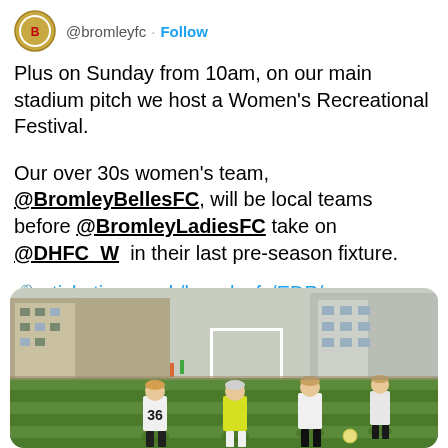@bromleyfc · Follow
Plus on Sunday from 10am, on our main stadium pitch we host a Women's Recreational Festival.
Our over 30s women's team, @BromleyBellesFC, will be local teams before @BromleyLadiesFC take on @DHFC_W  in their last pre-season fixture.
📎 eticketing.co.uk/bromleyfc/EDP/...
#WeAreBromley
[Figure (photo): Women's football match on a green artificial pitch. Players wearing white and yellow kit, one with number 36, buildings visible in background.]